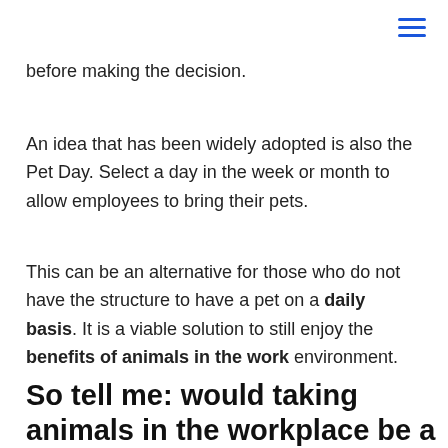≡
before making the decision.
An idea that has been widely adopted is also the Pet Day. Select a day in the week or month to allow employees to bring their pets.
This can be an alternative for those who do not have the structure to have a pet on a daily basis. It is a viable solution to still enjoy the benefits of animals in the work environment.
So tell me: would taking animals in the workplace be a positive